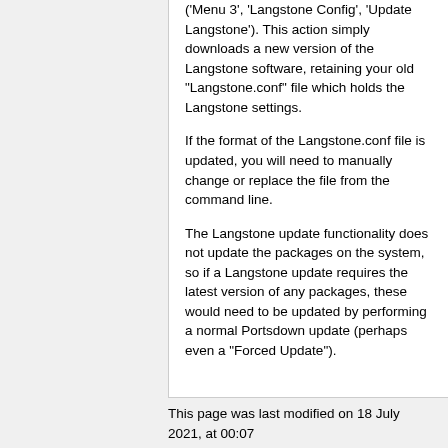('Menu 3', 'Langstone Config', 'Update Langstone'). This action simply downloads a new version of the Langstone software, retaining your old "Langstone.conf" file which holds the Langstone settings.
If the format of the Langstone.conf file is updated, you will need to manually change or replace the file from the command line.
The Langstone update functionality does not update the packages on the system, so if a Langstone update requires the latest version of any packages, these would need to be updated by performing a normal Portsdown update (perhaps even a "Forced Update").
This page was last modified on 18 July 2021, at 00:07